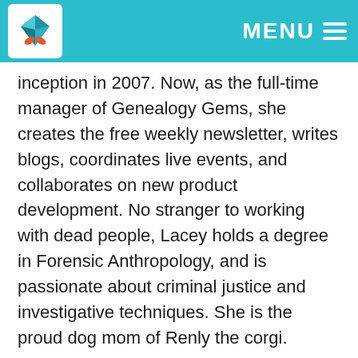MENU
inception in 2007. Now, as the full-time manager of Genealogy Gems, she creates the free weekly newsletter, writes blogs, coordinates live events, and collaborates on new product development. No stranger to working with dead people, Lacey holds a degree in Forensic Anthropology, and is passionate about criminal justice and investigative techniques. She is the proud dog mom of Renly the corgi.
Disclosure: This article contains affiliate links and Genealogy Gems will be compensated if you make a purchase after clicking on the links below.